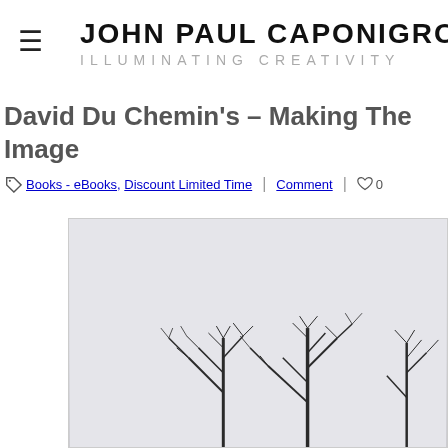JOHN PAUL CAPONIGRO – ILLUMINATING CREATIVITY
David Du Chemin's – Making The Image
Books - eBooks, Discount Limited Time | Comment | ♡ 0
[Figure (photo): Black and white photograph of bare winter trees against a light sky, partially cut off. An orange badge/ribbon appears in the top-right corner of the image frame.]